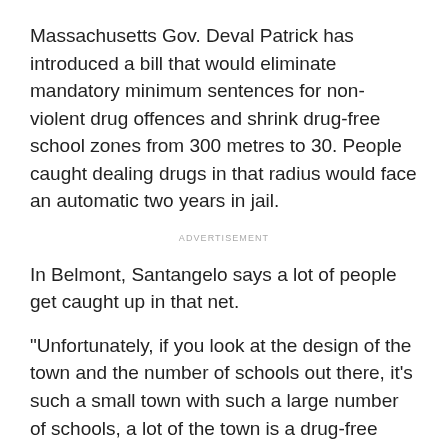Massachusetts Gov. Deval Patrick has introduced a bill that would eliminate mandatory minimum sentences for non-violent drug offences and shrink drug-free school zones from 300 metres to 30. People caught dealing drugs in that radius would face an automatic two years in jail.
ADVERTISEMENT
In Belmont, Santangelo says a lot of people get caught up in that net.
"Unfortunately, if you look at the design of the town and the number of schools out there, it's such a small town with such a large number of schools, a lot of the town is a drug-free school zone."